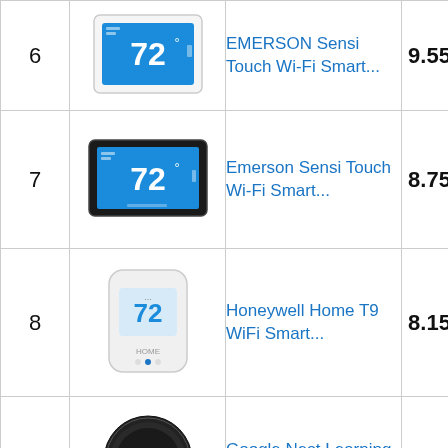| # | Image | Product | Score |
| --- | --- | --- | --- |
| 6 | [EMERSON Sensi Touch thermostat - white] | EMERSON Sensi Touch Wi-Fi Smart... | 9.55 |
| 7 | [Emerson Sensi Touch thermostat - black] | Emerson Sensi Touch Wi-Fi Smart... | 8.75 |
| 8 | [Honeywell Home T9 thermostat] | Honeywell Home T9 WiFi Smart... | 8.15 |
| 9 | [Google Nest Learning Thermostat] | Google Nest Learning Thermostat -... | 9.15 |